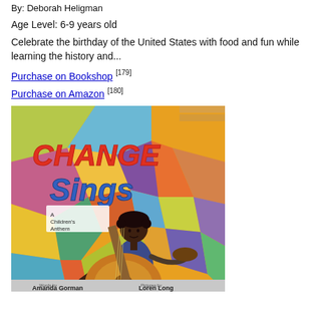By: Deborah Heligman
Age Level: 6-9 years old
Celebrate the birthday of the United States with food and fun while learning the history and...
Purchase on Bookshop [179]
Purchase on Amazon [180]
[Figure (photo): Book cover of 'Change Sings: A Children's Anthem' by Amanda Gorman with pictures by Loren Long. Colorful illustration of a young Black girl holding a large acoustic guitar in front of a vibrant mosaic-style background.]